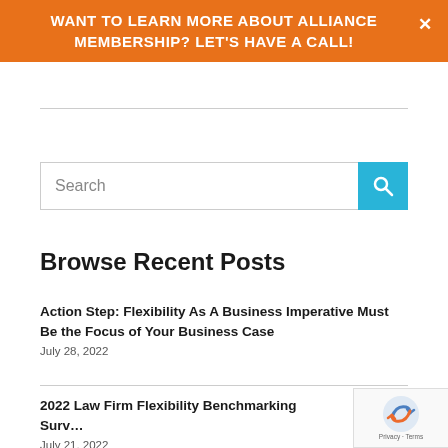WANT TO LEARN MORE ABOUT ALLIANCE MEMBERSHIP? LET'S HAVE A CALL!
Search
Browse Recent Posts
Action Step: Flexibility As A Business Imperative Must Be the Focus of Your Business Case
July 28, 2022
2022 Law Firm Flexibility Benchmarking Surv…
July 21, 2022